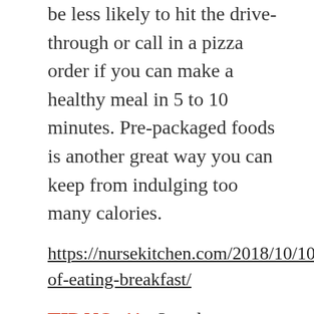be less likely to hit the drive-through or call in a pizza order if you can make a healthy meal in 5 to 10 minutes. Pre-packaged foods is another great way you can keep from indulging too many calories.
https://nursekitchen.com/2018/10/10/importance-of-eating-breakfast/
TIP NO. 11: Last but not least, get physically active. Whether you're trying to lose weight or not, physical activity is good for you. Don't use exercise to earn overeating right, this sets up a negative thought pattern which may cause you even hate exercising the more. When you exercise, focus on how great you feel, how much more energy you have, and how much better you sleep. Several exercises to help with weight loss are readily